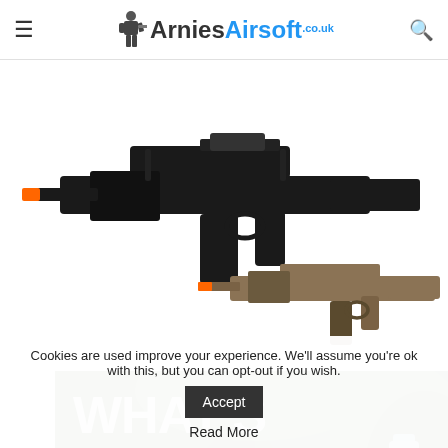ArniesAirsoft.co.uk — navigation header with hamburger menu and search icon
[Figure (photo): Two airsoft rifles shown on white background: a large black G36-style airsoft gun with orange muzzle tip in the foreground, and a smaller tan/dark earth colored airsoft rifle in the background-right]
[Figure (photo): Promotional banner with dark forest background showing bold distressed white text reading WHAT'S IN YOUR MAG? with a bottle of BB pellets visible on the right side]
Cookies are used improve your experience. We'll assume you're ok with this, but you can opt-out if you wish.
Accept
Read More